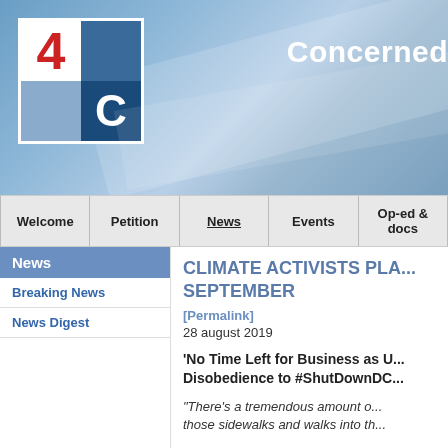[Figure (logo): 4C logo with red 4, dark blue squares, and white C on dark blue background, set on a blue gradient banner with 'Concerned' text partially visible]
Concerned
Welcome
Petition
News
Events
Op-ed & docs
News
Breaking News
News Digest
CLIMATE ACTIVISTS PLA... SEPTEMBER
[Permalink]
28 august 2019
'No Time Left for Business as U... Disobedience to #ShutDownDC...
"There's a tremendous amount o... those sidewalks and walks into th...